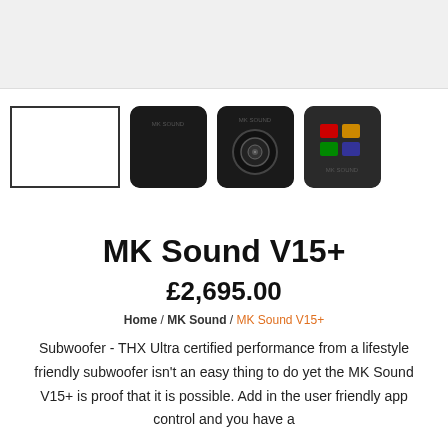[Figure (photo): Top gray area representing main product image placeholder]
[Figure (photo): Row of product thumbnails: white box outline, black rounded square subwoofer front, black rounded square with woofer cone, black rounded square with control panel]
MK Sound V15+
£2,695.00
Home / MK Sound / MK Sound V15+
Subwoofer - THX Ultra certified performance from a lifestyle friendly subwoofer isn't an easy thing to do yet the MK Sound V15+ is proof that it is possible. Add in the user friendly app control and you have a